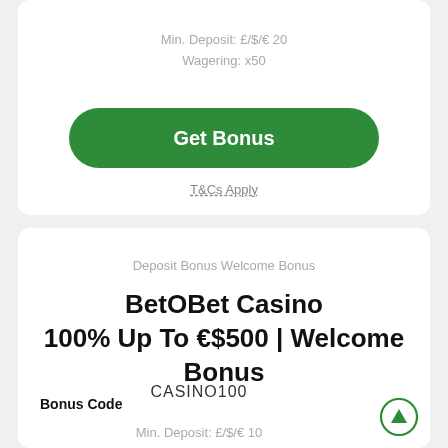Min. Deposit: £/$/€ 20
Wagering: x50
Get Bonus
T&Cs Apply
Deposit Bonus Welcome Bonus
BetOBet Casino 100% Up To €$500 | Welcome Bonus
Bonus Code
CASINO100
Min. Deposit: £/$/€ 10
Wagering: x25